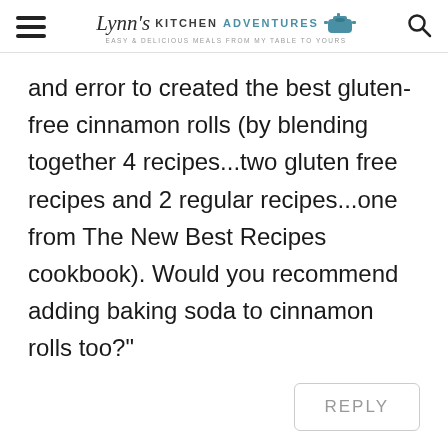Lynn's Kitchen Adventures - Easy & Delicious Meals From My Table To Yours
and error to created the best gluten-free cinnamon rolls (by blending together 4 recipes...two gluten free recipes and 2 regular recipes...one from The New Best Recipes cookbook). Would you recommend adding baking soda to cinnamon rolls too?"